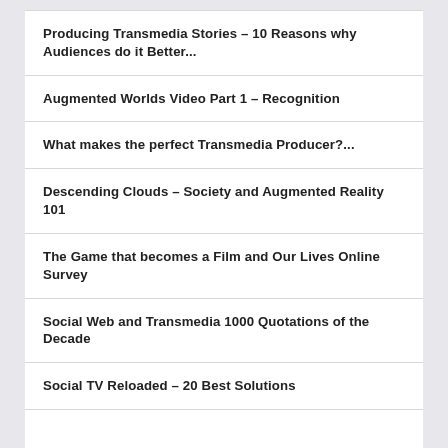Producing Transmedia Stories – 10 Reasons why Audiences do it Better...
Augmented Worlds Video Part 1 – Recognition
What makes the perfect Transmedia Producer?...
Descending Clouds – Society and Augmented Reality 101
The Game that becomes a Film and Our Lives Online Survey
Social Web and Transmedia 1000 Quotations of the Decade
Social TV Reloaded – 20 Best Solutions